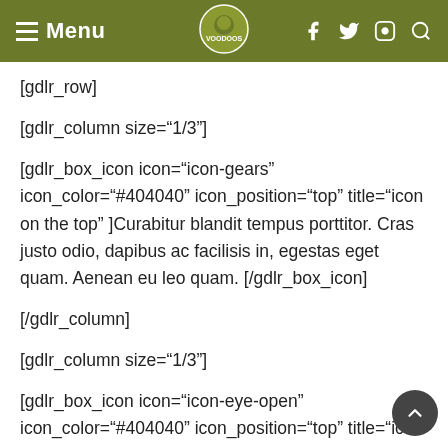Menu
[gdlr_row]
[gdlr_column size="1/3"]
[gdlr_box_icon icon="icon-gears" icon_color="#404040" icon_position="top" title="icon on the top" ]Curabitur blandit tempus porttitor. Cras justo odio, dapibus ac facilisis in, egestas eget quam. Aenean eu leo quam. [/gdlr_box_icon]
[/gdlr_column]
[gdlr_column size="1/3"]
[gdlr_box_icon icon="icon-eye-open" icon_color="#404040" icon_position="top" title="icon on the top" ]Curabitur blandit tempus porttitor. Cras justo odio, dapibus ac facilisis in, egestas eget quam. Aene...